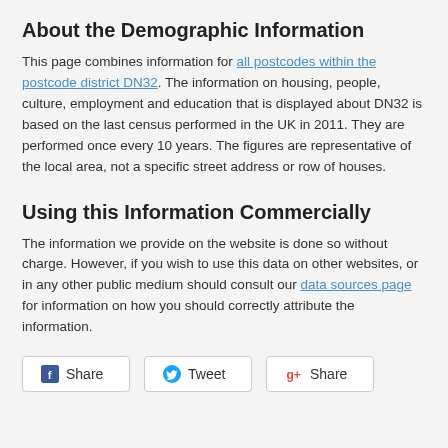About the Demographic Information
This page combines information for all postcodes within the postcode district DN32. The information on housing, people, culture, employment and education that is displayed about DN32 is based on the last census performed in the UK in 2011. They are performed once every 10 years. The figures are representative of the local area, not a specific street address or row of houses.
Using this Information Commercially
The information we provide on the website is done so without charge. However, if you wish to use this data on other websites, or in any other public medium should consult our data sources page for information on how you should correctly attribute the information.
[Figure (other): Social sharing buttons: Facebook Share, Tweet, Google+ Share]